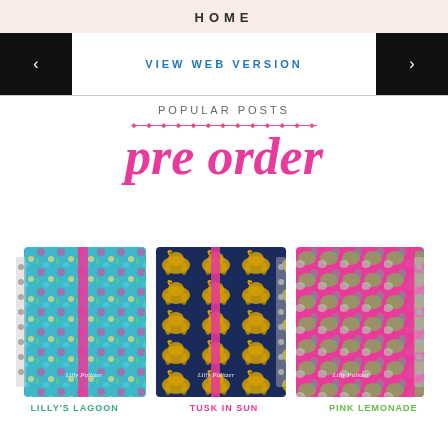HOME
VIEW WEB VERSION
POPULAR POSTS
[Figure (illustration): Promotional banner for Lilly Pulitzer 2016 large agenda pre-order. Shows text 'pre order' in large pink cursive script with strikethrough subtitle text above. Three Lilly Pulitzer planners shown below: Lilly's Lagoon (colorful floral on blue), Tusk in Sun (gold elephants on navy), and Pink Lemonade (green botanicals on pink/coral). Each planner has a pink elastic band.]
LILLY'S LAGOON
TUSK IN SUN
PINK LEMONADE